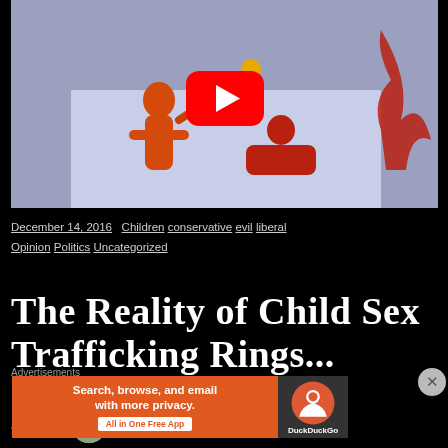[Figure (screenshot): YouTube video thumbnail showing illustrated orange/red figures on a light blue background, with a YouTube play button overlay in the center]
December 14, 2016   Children  conservative  evil  liberal  Opinion  Politics  Uncategorized
The Reality of Child Sex Trafficking Rings...
by StCyril
Advertisements
[Figure (screenshot): DuckDuckGo advertisement banner: Search, browse, and email with more privacy. All in One Free App]